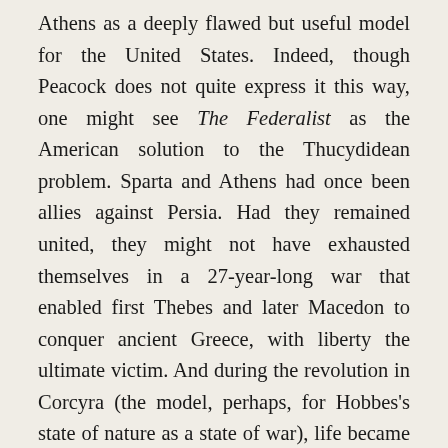Athens as a deeply flawed but useful model for the United States. Indeed, though Peacock does not quite express it this way, one might see The Federalist as the American solution to the Thucydidean problem. Sparta and Athens had once been allies against Persia. Had they remained united, they might not have exhausted themselves in a 27-year-long war that enabled first Thebes and later Macedon to conquer ancient Greece, with liberty the ultimate victim. And during the revolution in Corcyra (the model, perhaps, for Hobbes's state of nature as a state of war), life became short, nasty, and brutish—with Hobbes writing his Leviathan, in part, to offer his solution to the Thucydidean problem, understood as a spiral of violence resulting from the love of power and the fear of power.